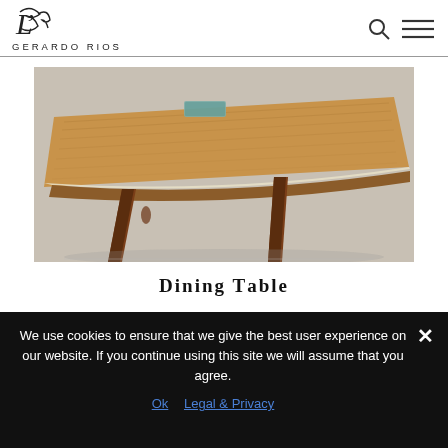GERARDO RIOS
[Figure (photo): Photo of a dining table with a live-edge wooden top, white/cream border detail, and dark walnut angled legs on a light gray background.]
Dining Table
We use cookies to ensure that we give the best user experience on our website. If you continue using this site we will assume that you agree.
Ok   Legal & Privacy